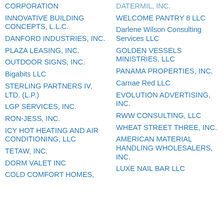CORPORATION
INNOVATIVE BUILDING CONCEPTS, L.L.C.
DANFORD INDUSTRIES, INC.
PLAZA LEASING, INC.
OUTDOOR SIGNS, INC.
Bigabits LLC
STERLING PARTNERS IV, LTD. (L.P.)
LGP SERVICES, INC.
RON-JESS, INC.
ICY HOT HEATING AND AIR CONDITIONING, LLC
TETAW, INC.
DORM VALET INC
COLD COMFORT HOMES,
DATERMIL, INC.
WELCOME PANTRY 8 LLC
Darlene Wilson Consulting Services LLC
GOLDEN VESSELS MINISTRIES, LLC
PANAMA PROPERTIES, INC.
Carnae Red LLC
EVOLUTION ADVERTISING, INC.
RWW CONSULTING, LLC
WHEAT STREET THREE, INC.
AMERICAN MATERIAL HANDLING WHOLESALERS, INC.
LUXE NAIL BAR LLC